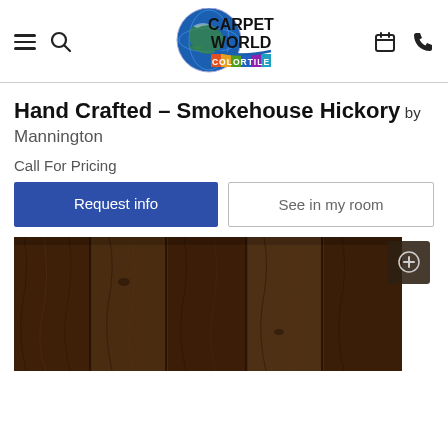Carpet World Colortile — navigation header with hamburger menu, search, logo, calendar, and phone icons
Hand Crafted – Smokehouse Hickory by Mannington
Call For Pricing
Request info
See in my room
[Figure (photo): Dark brown hickory wood flooring planks with natural grain texture, with a zoom/plus button overlay in the top-right corner]